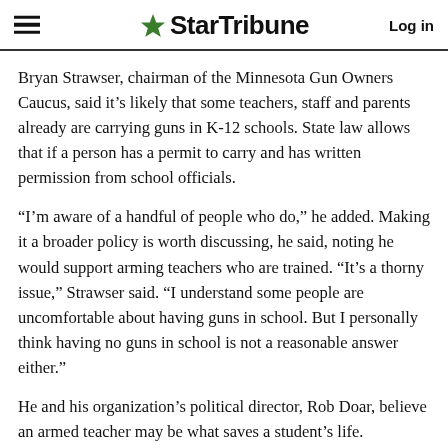StarTribune  Log in
Bryan Strawser, chairman of the Minnesota Gun Owners Caucus, said it’s likely that some teachers, staff and parents already are carrying guns in K-12 schools. State law allows that if a person has a permit to carry and has written permission from school officials.
“I’m aware of a handful of people who do,” he added. Making it a broader policy is worth discussing, he said, noting he would support arming teachers who are trained. “It’s a thorny issue,” Strawser said. “I understand some people are uncomfortable about having guns in school. But I personally think having no guns in school is not a reasonable answer either.”
He and his organization’s political director, Rob Doar, believe an armed teacher may be what saves a student’s life.
“We know what stops an active shooter is … a counter force,” Doar said. “And the sooner that counter force arrives, the lower